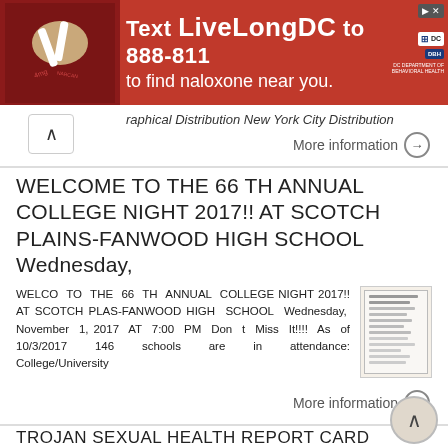[Figure (screenshot): Red advertisement banner: 'Text LiveLongDC to 888-811 to find naloxone near you.' with DC Health logos and a photo of hands holding medication.]
raphical Distribution New York City Distribution
More information →
WELCOME TO THE 66 TH ANNUAL COLLEGE NIGHT 2017!! AT SCOTCH PLAINS-FANWOOD HIGH SCHOOL Wednesday,
WELCO TO THE 66 TH ANNUAL COLLEGE NIGHT 2017!! AT SCOTCH PLAS-FANWOOD HIGH SCHOOL Wednesday, November 1, 2017 AT 7:00 PM Don t Miss It!!!! As of 10/3/2017 146 schools are in attendance: College/University
More information →
TROJAN SEXUAL HEALTH REPORT CARD